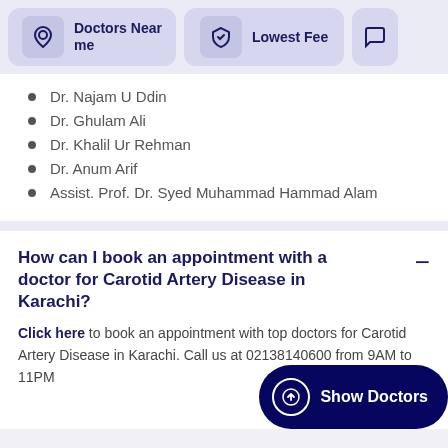Doctors Near me | Lowest Fee
Dr. Najam U Ddin
Dr. Ghulam Ali
Dr. Khalil Ur Rehman
Dr. Anum Arif
Assist. Prof. Dr. Syed Muhammad Hammad Alam
How can I book an appointment with a doctor for Carotid Artery Disease in Karachi?
Click here to book an appointment with top doctors for Carotid Artery Disease in Karachi. Call us at 02138140600 from 9AM to 11PM
What is the fee range of the best doctors for